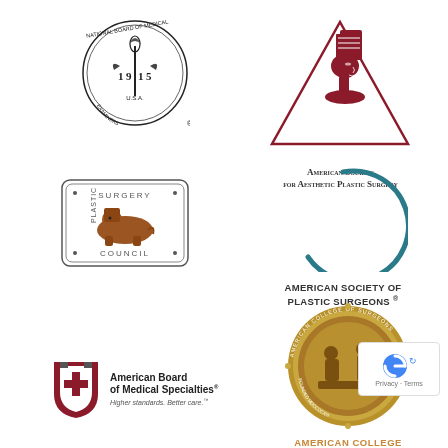[Figure (logo): National Board of Medical Examiners seal, circular, 1915, USA]
[Figure (logo): American Society for Aesthetic Plastic Surgery logo — red triangle with Nefertiti bust, text below]
[Figure (logo): Plastic Surgery Council badge — rectangular border with sphinx figure]
[Figure (logo): American Society of Plastic Surgeons logo — teal open circle with text below]
[Figure (logo): American Board of Medical Specialties logo — shield icon with text]
[Figure (logo): American College medallion badge — bronze circular seal, text AMERICAN COLLEGE below in gold]